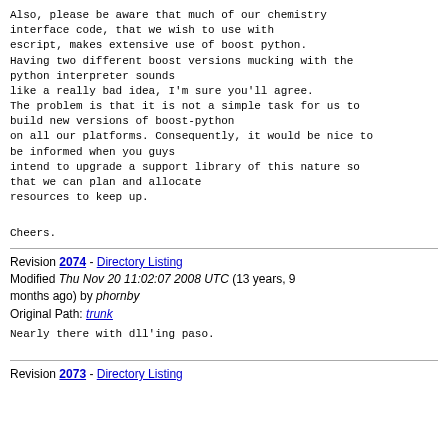Also, please be aware that much of our chemistry interface code, that we wish to use with escript, makes extensive use of boost python. Having two different boost versions mucking with the python interpreter sounds like a really bad idea, I'm sure you'll agree. The problem is that it is not a simple task for us to build new versions of boost-python on all our platforms. Consequently, it would be nice to be informed when you guys intend to upgrade a support library of this nature so that we can plan and allocate resources to keep up.
Cheers.
Revision 2074 - Directory Listing
Modified Thu Nov 20 11:02:07 2008 UTC (13 years, 9 months ago) by phornby
Original Path: trunk
Nearly there with dll'ing paso.
Revision 2073 - Directory Listing